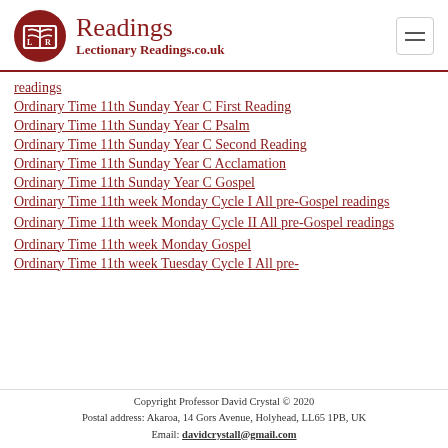Readings — Lectionary Readings.co.uk
readings
Ordinary Time 11th Sunday Year C First Reading
Ordinary Time 11th Sunday Year C Psalm
Ordinary Time 11th Sunday Year C Second Reading
Ordinary Time 11th Sunday Year C Acclamation
Ordinary Time 11th Sunday Year C Gospel
Ordinary Time 11th week Monday Cycle I All pre-Gospel readings
Ordinary Time 11th week Monday Cycle II All pre-Gospel readings
Ordinary Time 11th week Monday Gospel
Ordinary Time 11th week Tuesday Cycle I All pre-
Copyright Professor David Crystal © 2020
Postal address: Akaroa, 14 Gors Avenue, Holyhead, LL65 1PB, UK
Email: davidcrystall@gmail.com